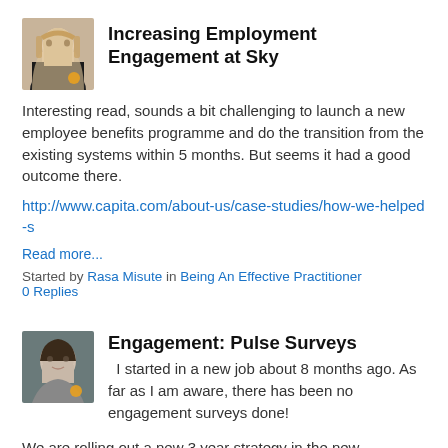[Figure (photo): Profile photo of a woman with long blonde hair and glasses]
Increasing Employment Engagement at Sky
Interesting read, sounds a bit challenging to launch a new employee benefits programme and do the transition from the existing systems within 5 months. But seems it had a good outcome there.
http://www.capita.com/about-us/case-studies/how-we-helped-s
Read more...
Started by Rasa Misute in Being An Effective Practitioner
0 Replies
[Figure (photo): Profile photo of a woman with dark hair, smiling]
Engagement: Pulse Surveys
I started in a new job about 8 months ago. As far as I am aware, there has been no engagement surveys done!
We are rolling out a new 3 year strategy in the new